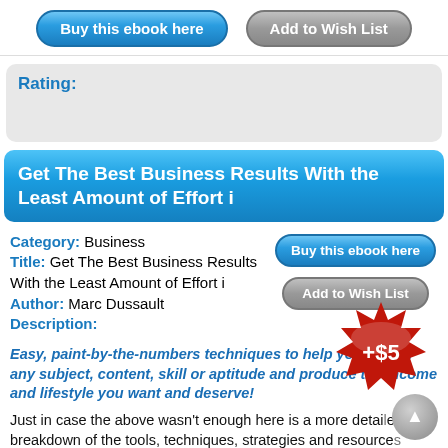[Figure (other): Buy this ebook here button (blue pill-shaped)]
[Figure (other): Add to Wish List button (gray pill-shaped)]
Rating:
Get The Best Business Results With the Least Amount of Effort i
Category: Business
Title: Get The Best Business Results With the Least Amount of Effort i
Author: Marc Dussault
Description:
[Figure (other): Buy this ebook here button (blue pill-shaped)]
[Figure (other): Add to Wish List button (gray pill-shaped)]
Easy, paint-by-the-numbers techniques to help you master any subject, content, skill or aptitude and produce the income and lifestyle you want and deserve!
[Figure (other): Red starburst price badge with +$5]
Just in case the above wasn't enough here is a more detailed breakdown of the tools, techniques, strategies and resources contained in Get The Best Business Results With the Least